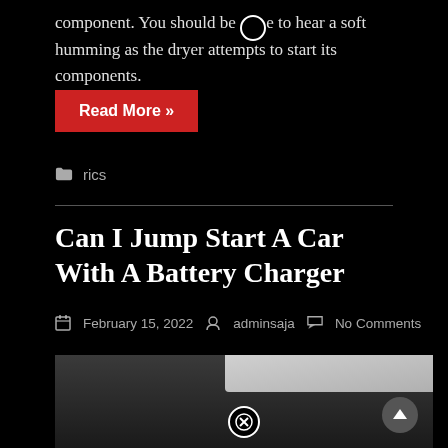component. You should be able to hear a soft humming as the dryer attempts to start its components.
Read More »
rics
Can I Jump Start A Car With A Battery Charger
February 15, 2022   adminsaja   No Comments
[Figure (photo): Photo of what appears to be a dark metallic surface, possibly a car battery charger or similar device, with a lighter rectangular panel visible in the upper right portion of the image.]